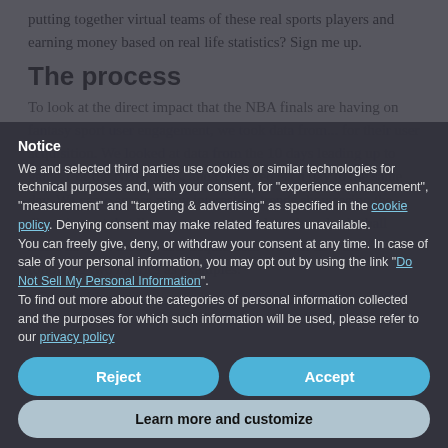putting together virtual teams of these real sports players and earning money based on real life statistics? Sign me up.
The process
To look at the direct impact that the NBA finals are having on fantasy sport user engagement, we took data from... for their user acquisition. We looked at data from the 10 days leading up to game 1 of the NBA finals, and compared each day to the same day. We came across many interesting trends showcasing the direct impact that live sports events such as these basketball finals have on mobile user acquisition. We will take the following two metrics as examples:
Conversion rate
Notice
We and selected third parties use cookies or similar technologies for technical purposes and, with your consent, for "experience enhancement", "measurement" and "targeting & advertising" as specified in the cookie policy. Denying consent may make related features unavailable.
You can freely give, deny, or withdraw your consent at any time. In case of sale of your personal information, you may opt out by using the link "Do Not Sell My Personal Information".
To find out more about the categories of personal information collected and the purposes for which such information will be used, please refer to our privacy policy
Reject
Accept
Learn more and customize